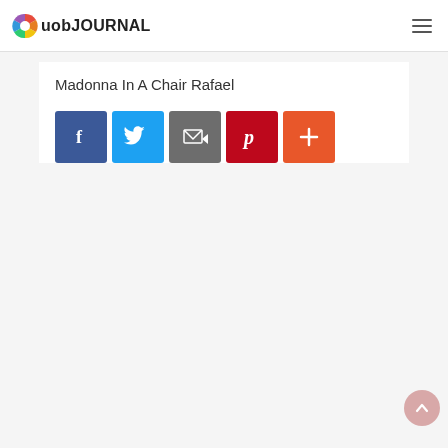uob JOURNAL
Madonna In A Chair Rafael
[Figure (infographic): Row of five social sharing buttons: Facebook (blue), Twitter (light blue), Email/share (grey), Pinterest (red), More/plus (orange-red)]